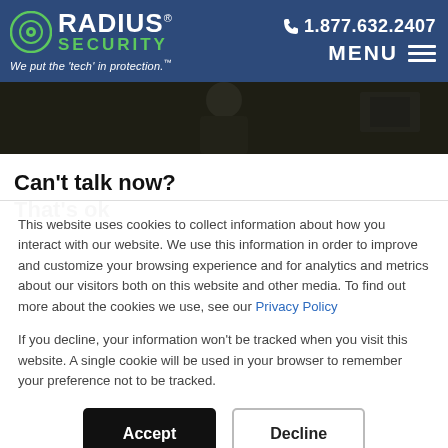RADIUS SECURITY — We put the 'tech' in protection.™ — 1.877.632.2407 — MENU
[Figure (photo): Hero photo strip showing a person in dark clothing against a dark background]
Can't talk now?
That's ok
This website uses cookies to collect information about how you interact with our website. We use this information in order to improve and customize your browsing experience and for analytics and metrics about our visitors both on this website and other media. To find out more about the cookies we use, see our Privacy Policy
If you decline, your information won't be tracked when you visit this website. A single cookie will be used in your browser to remember your preference not to be tracked.
Accept | Decline